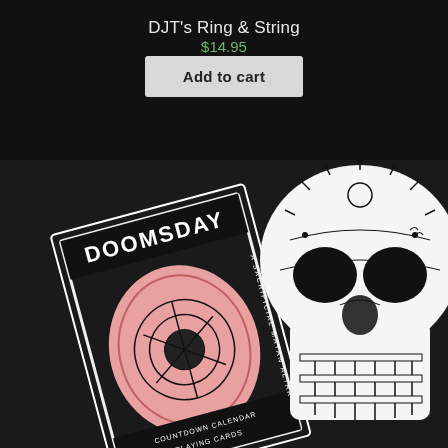DJT's Ring & String
$14.95
Add to cart
[Figure (photo): Photo of a Doomsday Countdown Calendar Playing Card deck box and a decorative Day of the Dead skull, both black and white with pink accents on the card box, on a dark background]